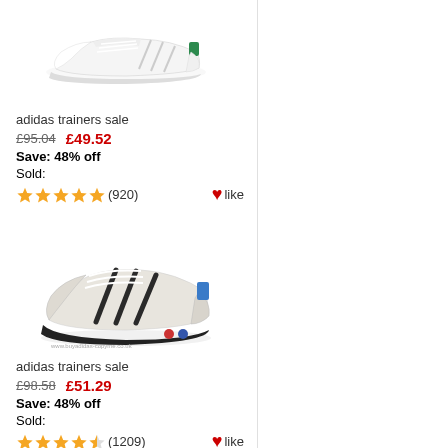[Figure (photo): White adidas Stan Smith sneaker with green heel tab, side view on white background]
adidas trainers sale
£95.04   £49.52
Save: 48% off
Sold:
★★★★★ (920)  ♥like
[Figure (photo): Grey adidas LA Trainer retro sneaker with dark navy stripes, side view]
adidas trainers sale
£98.58   £51.29
Save: 48% off
Sold:
★★★★☆ (1209)  ♥like